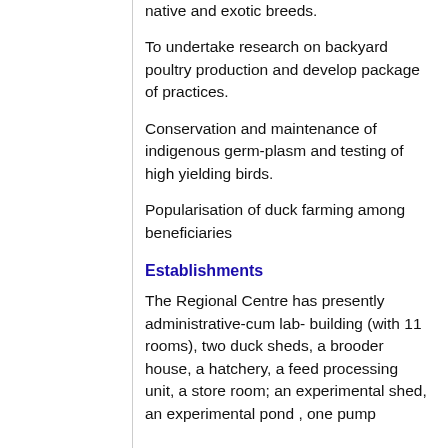native and exotic breeds.
To undertake research on backyard poultry production and develop package of practices.
Conservation and maintenance of indigenous germ-plasm and testing of high yielding birds.
Popularisation of duck farming among beneficiaries
Establishments
The Regional Centre has presently administrative-cum lab- building (with 11 rooms), two duck sheds, a brooder house, a hatchery, a feed processing unit, a store room; an experimental shed, an experimental pond , one pump